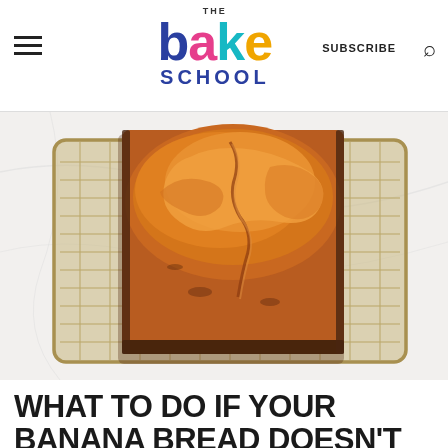The Bake School — SUBSCRIBE
[Figure (photo): Overhead view of a golden-brown banana bread loaf in a dark loaf pan, sitting on a wire cooling rack on a white marble surface.]
WHAT TO DO IF YOUR BANANA BREAD DOESN'T